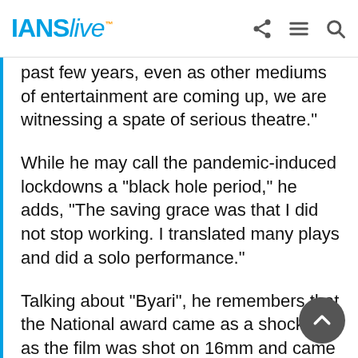IANS live
past few years, even as other mediums of entertainment are coming up, we are witnessing a spate of serious theatre."
While he may call the pandemic-induced lockdowns a "black hole period," he adds, "The saving grace was that I did not stop working. I translated many plays and did a solo performance."
Talking about "Byari", he remembers that the National award came as a shocker as the film was shot on 16mm and came